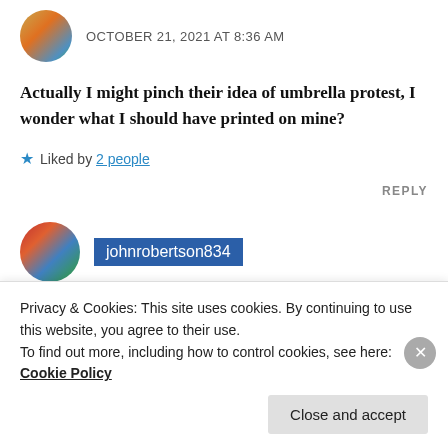[Figure (photo): Round avatar image of a user, showing a globe/map-like illustration]
OCTOBER 21, 2021 AT 8:36 AM
Actually I might pinch their idea of umbrella protest, I wonder what I should have printed on mine?
★ Liked by 2 people
REPLY
[Figure (photo): Round avatar image of a second user, showing a group photo]
johnrobertson834
Privacy & Cookies: This site uses cookies. By continuing to use this website, you agree to their use.
To find out more, including how to control cookies, see here:
Cookie Policy
Close and accept